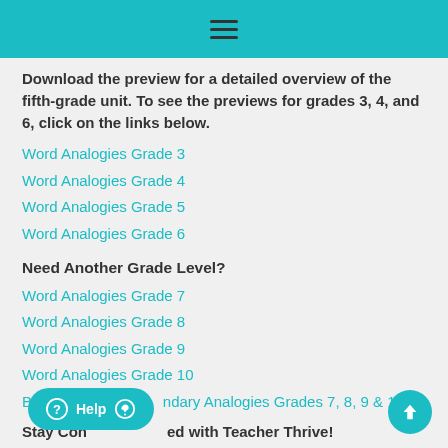≡
Download the preview for a detailed overview of the fifth-grade unit. To see the previews for grades 3, 4, and 6, click on the links below.
Word Analogies Grade 3
Word Analogies Grade 4
Word Analogies Grade 5
Word Analogies Grade 6
Need Another Grade Level?
Word Analogies Grade 7
Word Analogies Grade 8
Word Analogies Grade 9
Word Analogies Grade 10
BU—ndary Analogies Grades 7, 8, 9 & 10
Stay Connected with Teacher Thrive!